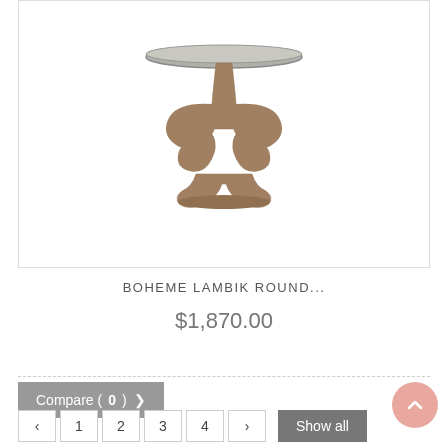[Figure (photo): A decorative round accent table with a carved wooden pedestal base featuring scroll legs and a round mirrored/metal top. The finish is a weathered grayish-brown wood tone.]
BOHEME LAMBIK ROUND...
$1,870.00
Compare (0) >
< 1 2 3 4 > Show all